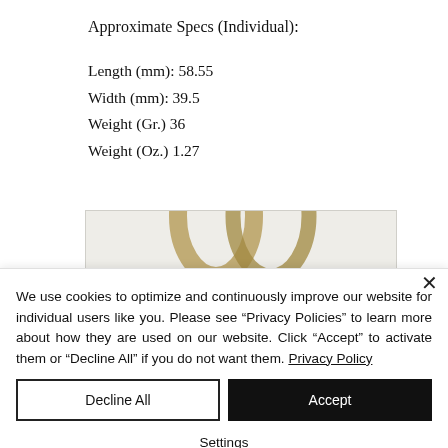Approximate Specs (Individual):
Length (mm): 58.55
Width (mm): 39.5
Weight (Gr.) 36
Weight (Oz.) 1.27
[Figure (photo): Partial product photo showing gold-toned decorative item on light background]
We use cookies to optimize and continuously improve our website for individual users like you. Please see “Privacy Policies” to learn more about how they are used on our website. Click “Accept” to activate them or “Decline All” if you do not want them. Privacy Policy
Decline All
Accept
Settings